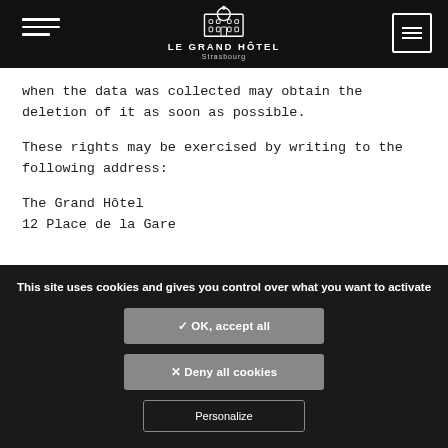LE GRAND HÔTEL Strasbourg
when the data was collected may obtain the deletion of it as soon as possible.
These rights may be exercised by writing to the following address:
The Grand Hôtel
12 Place de la Gare
This site uses cookies and gives you control over what you want to activate
✓ OK, accept all
✕ Deny all cookies
Personalize